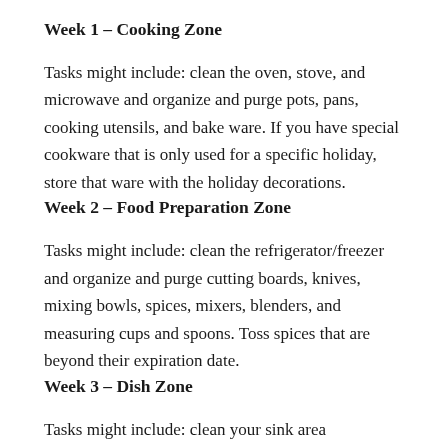Week 1 – Cooking Zone
Tasks might include: clean the oven, stove, and microwave and organize and purge pots, pans, cooking utensils, and bake ware. If you have special cookware that is only used for a specific holiday, store that ware with the holiday decorations.
Week 2 – Food Preparation Zone
Tasks might include: clean the refrigerator/freezer and organize and purge cutting boards, knives, mixing bowls, spices, mixers, blenders, and measuring cups and spoons. Toss spices that are beyond their expiration date.
Week 3 – Dish Zone
Tasks might include: clean your sink area…